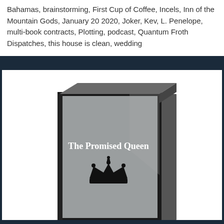Bahamas, brainstorming, First Cup of Coffee, Incels, Inn of the Mountain Gods, January 20 2020, Joker, Kev, L. Penelope, multi-book contracts, Plotting, podcast, Quantum Froth Dispatches, this house is clean, wedding
[Figure (illustration): Illustration of a book cover in grayscale. The book is shown at a slight angle. The cover is medium gray with a dark border/spine. The title 'The Promised Queen' is shown in white bold text. Below the title is a black crown icon.]